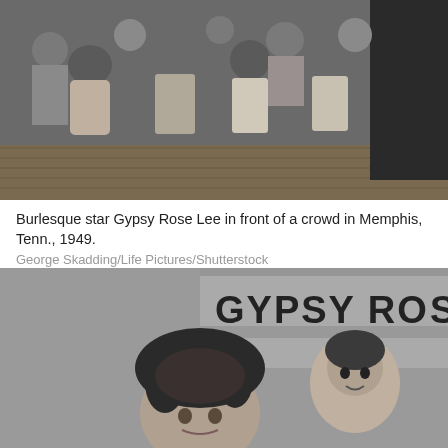[Figure (photo): Black and white photo of a crowd including children and adults, photographed from a slightly elevated angle, with a dark-suited figure on the right. Appears to be an outdoor event, 1949.]
Burlesque star Gypsy Rose Lee in front of a crowd in Memphis, Tenn., 1949.
George Skadding/Life Pictures/Shutterstock
[Figure (photo): Black and white photo showing a woman with curly hair in front of a large banner reading 'GYPSY RO[SE LEE]', with a painted portrait of a woman visible on the banner to the right.]